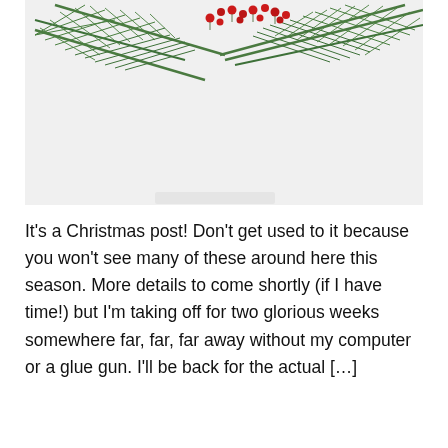[Figure (photo): A decorative Christmas pine branch arrangement with red berries on a white/light gray background, viewed from above against the top edge of the frame.]
It's a Christmas post! Don't get used to it because you won't see many of these around here this season. More details to come shortly (if I have time!) but I'm taking off for two glorious weeks somewhere far, far, far away without my computer or a glue gun. I'll be back for the actual […]